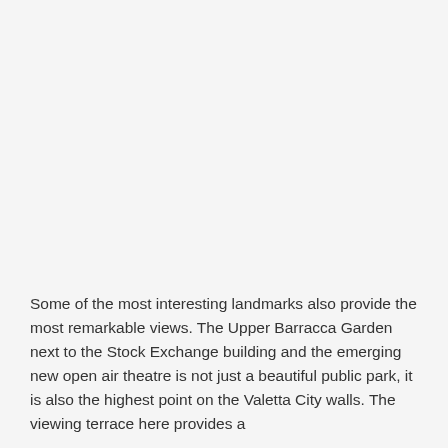Some of the most interesting landmarks also provide the most remarkable views. The Upper Barracca Garden next to the Stock Exchange building and the emerging new open air theatre is not just a beautiful public park, it is also the highest point on the Valetta City walls. The viewing terrace here provides a